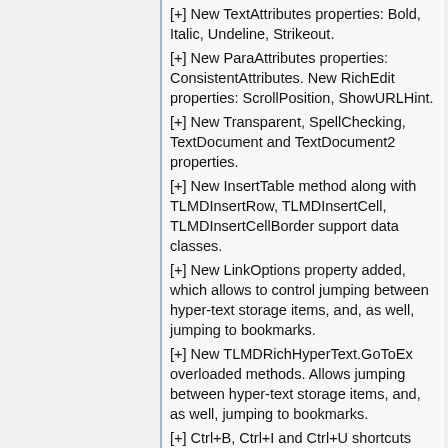[+] New TextAttributes properties: Bold, Italic, Undeline, Strikeout.
[+] New ParaAttributes properties: ConsistentAttributes. New RichEdit properties: ScrollPosition, ShowURLHint.
[+] New Transparent, SpellChecking, TextDocument and TextDocument2 properties.
[+] New InsertTable method along with TLMDInsertRow, TLMDInsertCell, TLMDInsertCellBorder support data classes.
[+] New LinkOptions property added, which allows to control jumping between hyper-text storage items, and, as well, jumping to bookmarks.
[+] New TLMDRichHyperText.GoToEx overloaded methods. Allows jumping between hyper-text storage items, and, as well, jumping to bookmarks.
[+] Ctrl+B, Ctrl+I and Ctrl+U shortcuts